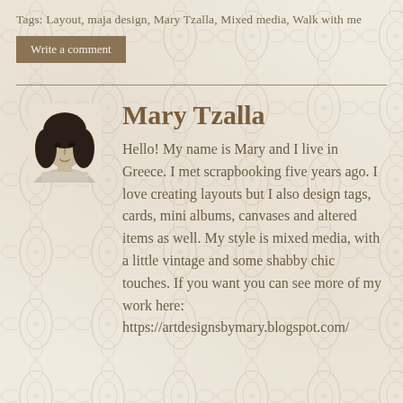Tags: Layout, maja design, Mary Tzalla, Mixed media, Walk with me
Write a comment
Mary Tzalla
[Figure (photo): Black and white portrait photo of Mary Tzalla, a woman with dark hair]
Hello! My name is Mary and I live in Greece. I met scrapbooking five years ago. I love creating layouts but I also design tags, cards, mini albums, canvases and altered items as well. My style is mixed media, with a little vintage and some shabby chic touches. If you want you can see more of my work here: https://artdesignsbymary.blogspot.com/